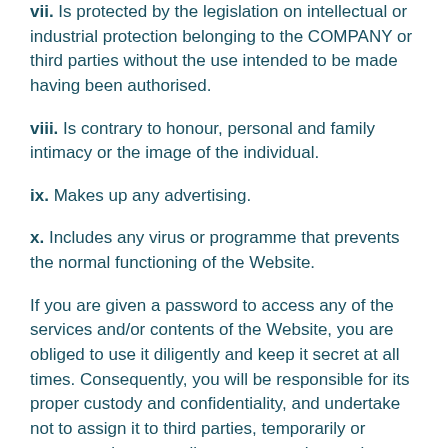vii. Is protected by the legislation on intellectual or industrial protection belonging to the COMPANY or third parties without the use intended to be made having been authorised.
viii. Is contrary to honour, personal and family intimacy or the image of the individual.
ix. Makes up any advertising.
x. Includes any virus or programme that prevents the normal functioning of the Website.
If you are given a password to access any of the services and/or contents of the Website, you are obliged to use it diligently and keep it secret at all times. Consequently, you will be responsible for its proper custody and confidentiality, and undertake not to assign it to third parties, temporarily or permanently, nor to allow access to the services mentioned above and/or contents by third